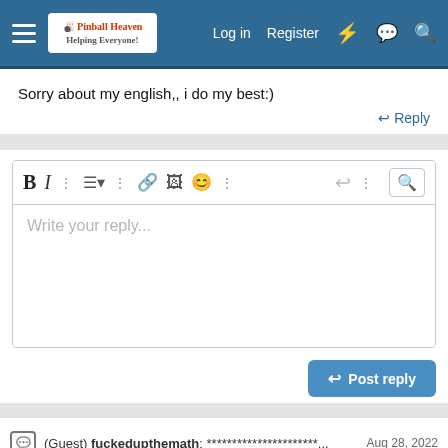Pinball Heaven — Log in  Register
Sorry about my english,, i do my best:)
↩ Reply
[Figure (screenshot): Forum reply text editor with toolbar (Bold, Italic, bullet list, link, image, emoji icons) and placeholder text 'Write your reply...']
↩ Post reply
(Guest) fuckedupthemath: **********************...  Aug 28, 2022
Chat [0]